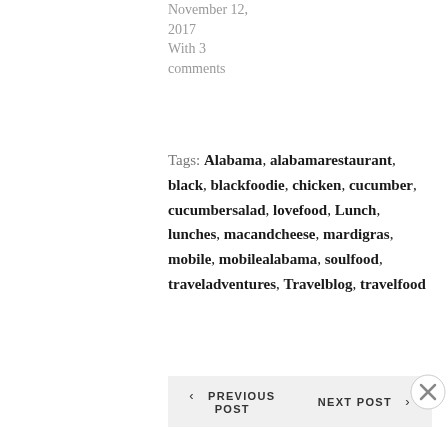November 12, 2017
With 3 comments
Tags: Alabama, alabamarestaurant, black, blackfoodie, chicken, cucumber, cucumbersalad, lovefood, Lunch, lunches, macandcheese, mardigras, mobile, mobilealabama, soulfood, traveladventures, Travelblog, travelfood
‹ PREVIOUS POST   NEXT POST ›
Advertisements
Launch your online course with WordPress  Learn More